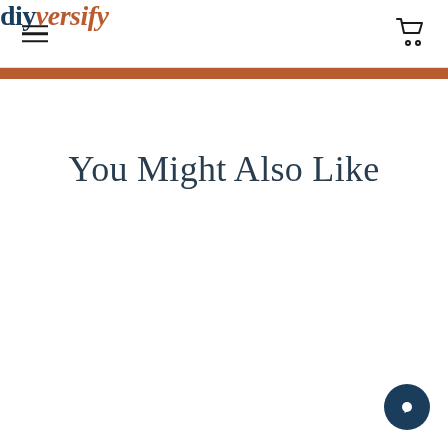diyversify
You Might Also Like